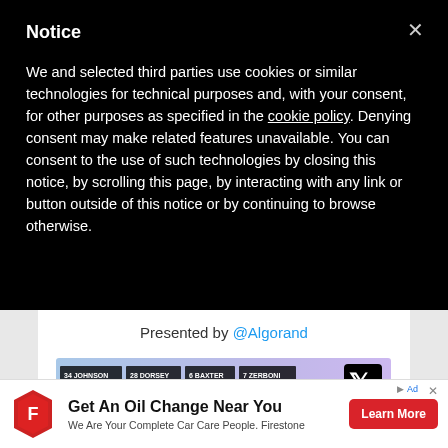Notice
We and selected third parties use cookies or similar technologies for technical purposes and, with your consent, for other purposes as specified in the cookie policy. Denying consent may make related features unavailable. You can consent to the use of such technologies by closing this notice, by scrolling this page, by interacting with any link or button outside of this notice or by continuing to browse otherwise.
Presented by @Algorand
[Figure (photo): Sports team player name tags showing JOHNSON #34, DORSEY #28, BAXTER #6, ZERBONI #7 with X logo overlay and gradient background]
Get An Oil Change Near You We Are Your Complete Car Care People. Firestone
Learn More